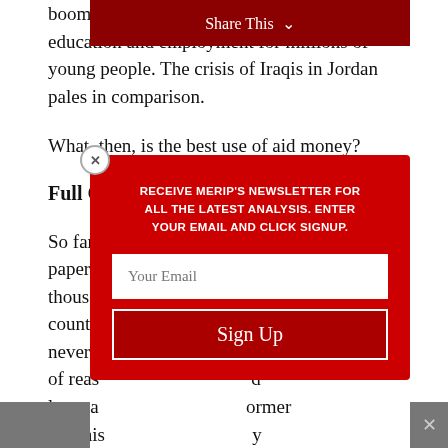boom that will redouble the need for education and employment for millions of young people. The crisis of Iraqis in Jordan pales in comparison.
What, then, is the best use of aid money?
Full Circ
So far, [text behind modal] nt papers [text behind modal] thousa [text behind modal] d countri [text behind modal] will never b [text behind modal] ariety of reas [text behind modal] d langua [text behind modal] ormer Baathis [text behind modal] return [text behind modal] ause of
[Figure (other): Newsletter signup modal overlay on a dark red background. Contains text: RECEIVE MERIP'S NEWSLETTER FOR ALL THE LATEST ANALYSIS. ENTER YOUR EMAIL AND CLICK SIGNUP. Has an email input field labeled 'Your Email' and a 'Sign Up' button. A close X button is at the top left of the modal.]
Share This ∨